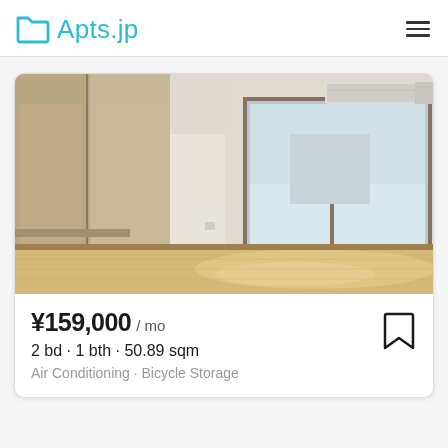Apts.jp
[Figure (photo): Interior photo of an empty Japanese apartment room with wood laminate flooring, sliding glass door/window to balcony, wall-mounted air conditioning unit, and wood-panel closet doors on the left]
¥159,000 / mo
2 bd · 1 bth · 50.89 sqm
Air Conditioning · Bicycle Storage